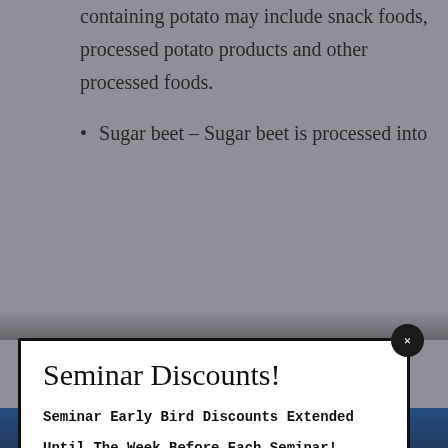containing potato may include snack foods, processed potato products and other processed foods.
Sugar beet – Sugar beet is processed into
Seminar Discounts!
Seminar Early Bird Discounts Extended
Until The Week Before Each Seminar!
Hurry and Pay For Your Reservation Now!
Click Here For Up and Coming Seminars.